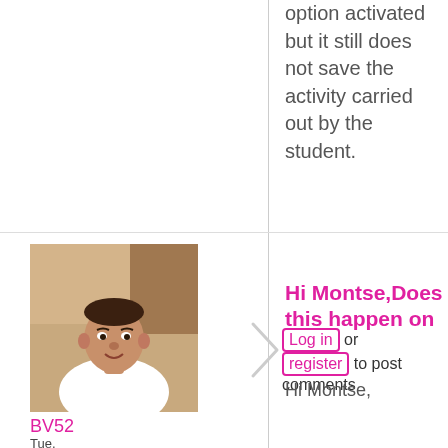option activated but it still does not save the activity carried out by the student.
Log in or register to post comments
[Figure (photo): Profile photo of user BV52 - a man in a white shirt in an indoor setting]
BV52
Tue, 04/28/2020
Hi Montse,Does this happen on
Hi Montse,